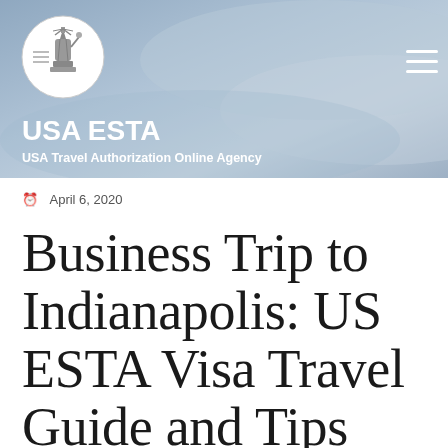[Figure (logo): USA ESTA website header banner with Statue of Liberty logo circle, site name 'USA ESTA', tagline 'USA Travel Authorization Online Agency', hamburger menu icon, and blue-grey wave background]
April 6, 2020
Business Trip to Indianapolis: US ESTA Visa Travel Guide and Tips